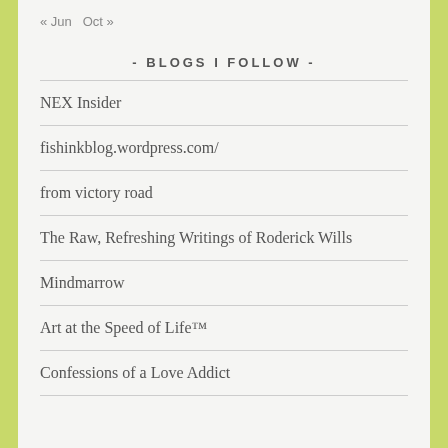« Jun  Oct »
- BLOGS I FOLLOW -
NEX Insider
fishinkblog.wordpress.com/
from victory road
The Raw, Refreshing Writings of Roderick Wills
Mindmarrow
Art at the Speed of Life™
Confessions of a Love Addict